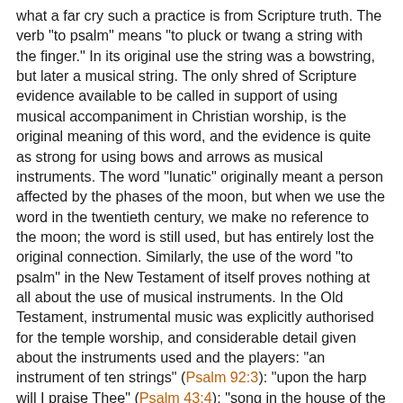what a far cry such a practice is from Scripture truth. The verb "to psalm" means "to pluck or twang a string with the finger." In its original use the string was a bowstring, but later a musical string. The only shred of Scripture evidence available to be called in support of using musical accompaniment in Christian worship, is the original meaning of this word, and the evidence is quite as strong for using bows and arrows as musical instruments. The word "lunatic" originally meant a person affected by the phases of the moon, but when we use the word in the twentieth century, we make no reference to the moon; the word is still used, but has entirely lost the original connection. Similarly, the use of the word "to psalm" in the New Testament of itself proves nothing at all about the use of musical instruments. In the Old Testament, instrumental music was explicitly authorised for the temple worship, and considerable detail given about the instruments used and the players: "an instrument of ten strings" (Psalm 92:3): "upon the harp will I praise Thee" (Psalm 43:4): "song in the house of the Lord, with cymbals, psalteries and harps, for the service of the house of God" (1 Chron. 25:6): and numerous other references. When we contrast this with the total absence of such details in the New Testament, it can only be concluded that instruments were not used in the New Testament churches. Indeed, they would hinder by diverting attention from the inward spiritual